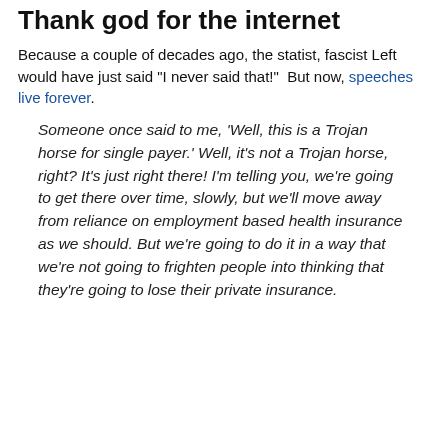Thank god for the internet
Because a couple of decades ago, the statist, fascist Left would have just said "I never said that!"  But now, speeches live forever.
Someone once said to me, 'Well, this is a Trojan horse for single payer.' Well, it's not a Trojan horse, right? It's just right there! I'm telling you, we're going to get there over time, slowly, but we'll move away from reliance on employment based health insurance as we should. But we're going to do it in a way that we're not going to frighten people into thinking that they're going to lose their private insurance.